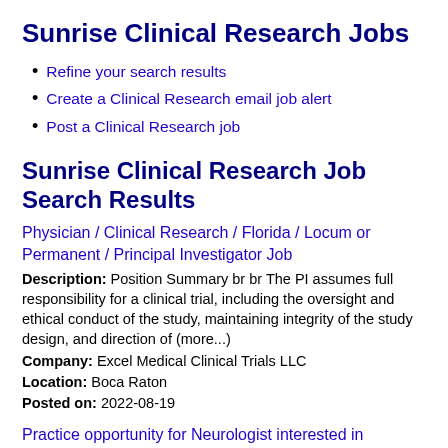Sunrise Clinical Research Jobs
Refine your search results
Create a Clinical Research email job alert
Post a Clinical Research job
Sunrise Clinical Research Job Search Results
Physician / Clinical Research / Florida / Locum or Permanent / Principal Investigator Job
Description: Position Summary br br The PI assumes full responsibility for a clinical trial, including the oversight and ethical conduct of the study, maintaining integrity of the study design, and direction of (more...)
Company: Excel Medical Clinical Trials LLC
Location: Boca Raton
Posted on: 2022-08-19
Practice opportunity for Neurologist interested in research/pharmaceutical industry.
Description: Recruiting Neurologist for Research Institute in Palm Beach County Florida br br Independent clinical research